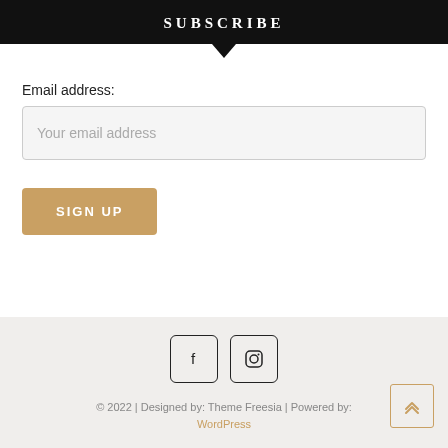SUBSCRIBE
Email address:
Your email address
SIGN UP
[Figure (illustration): Social media icons: Facebook (f) and Instagram (camera) in square rounded boxes]
© 2022 | Designed by: Theme Freesia | Powered by: WordPress